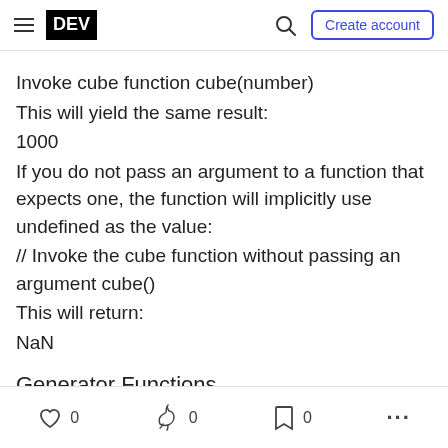DEV | Create account
Invoke cube function cube(number)
This will yield the same result:
1000
If you do not pass an argument to a function that expects one, the function will implicitly use undefined as the value:
// Invoke the cube function without passing an argument cube()
This will return:
NaN
Generator Functions
0 reactions | 0 unicorns | 0 bookmarks